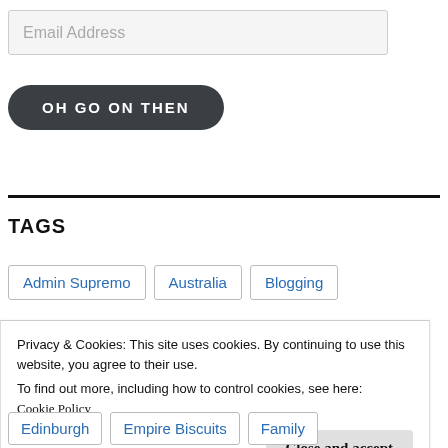Email Address
OH GO ON THEN
TAGS
Admin Supremo
Australia
Blogging
Privacy & Cookies: This site uses cookies. By continuing to use this website, you agree to their use.
To find out more, including how to control cookies, see here:
Cookie Policy
Close and accept
Edinburgh
Empire Biscuits
Family